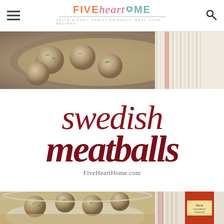FIVE heart HOME — Quick & easy, family friendly, real food recipes!
[Figure (photo): Top photo of Swedish meatballs in a pan with gravy and herbs, with a white cloth/towel on the right side]
swedish meatballs
FiveHeartHome.com
[Figure (photo): Bottom photos: left shows meatballs in creamy gravy sauce in a white bowl; right shows a jar of Felix lingonberry preserves with a white cloth]